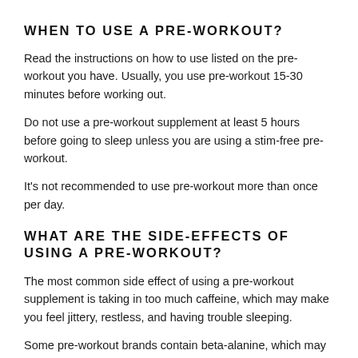WHEN TO USE A PRE-WORKOUT?
Read the instructions on how to use listed on the pre-workout you have. Usually, you use pre-workout 15-30 minutes before working out.
Do not use a pre-workout supplement at least 5 hours before going to sleep unless you are using a stim-free pre-workout.
It's not recommended to use pre-workout more than once per day.
WHAT ARE THE SIDE-EFFECTS OF USING A PRE-WORKOUT?
The most common side effect of using a pre-workout supplement is taking in too much caffeine, which may make you feel jittery, restless, and having trouble sleeping.
Some pre-workout brands contain beta-alanine, which may cause a common side effect called paraesthesia, which is a